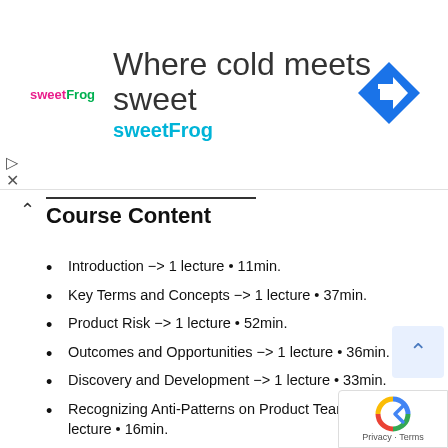[Figure (illustration): Advertisement banner for sweetFrog frozen yogurt: logo on left, headline 'Where cold meets sweet' and subline 'sweetFrog' in cyan, blue diamond arrow navigation icon on right]
Course Content
Introduction -> 1 lecture • 11min.
Key Terms and Concepts -> 1 lecture • 37min.
Product Risk -> 1 lecture • 52min.
Outcomes and Opportunities -> 1 lecture • 36min.
Discovery and Development -> 1 lecture • 33min.
Recognizing Anti-Patterns on Product Teams -> 1 lecture • 16min.
Key Takeaways and Rules for Success -> 1 lecture • 16min.
Requirements